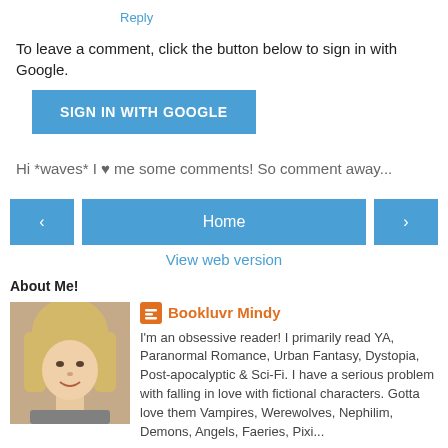Reply
To leave a comment, click the button below to sign in with Google.
SIGN IN WITH GOOGLE
Hi *waves* I ♥ me some comments! So comment away...
‹
Home
›
View web version
About Me!
[Figure (photo): Profile photo of Bookluvr Mindy - blonde woman smiling]
Bookluvr Mindy
I'm an obsessive reader! I primarily read YA, Paranormal Romance, Urban Fantasy, Dystopia, Post-apocalyptic & Sci-Fi. I have a serious problem with falling in love with fictional characters. Gotta love them Vampires, Werewolves, Nephilim, Demons, Angels, Faeries, Pixies...